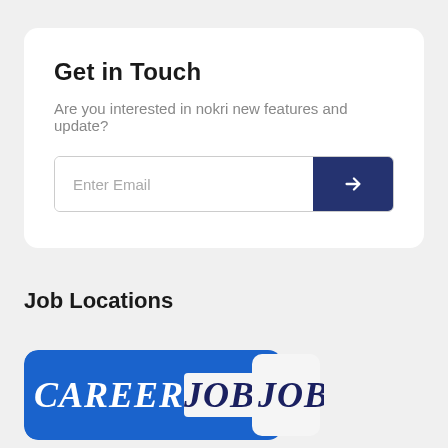Get in Touch
Are you interested in nokri new features and update?
Job Locations
[Figure (logo): CAREERJOBS logo with blue background on left portion and white/light background on right portion, large bold serif italic text]